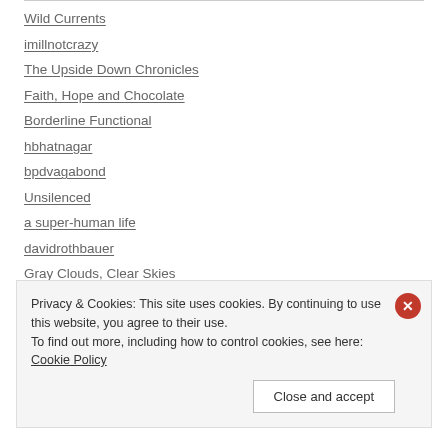Wild Currents
imillnotcrazy
The Upside Down Chronicles
Faith, Hope and Chocolate
Borderline Functional
hbhatnagar
bpdvagabond
Unsilenced
a super-human life
davidrothbauer
Gray Clouds, Clear Skies
The Mechanics of a Malfunctioning Mind
Privacy & Cookies: This site uses cookies. By continuing to use this website, you agree to their use. To find out more, including how to control cookies, see here: Cookie Policy
Close and accept